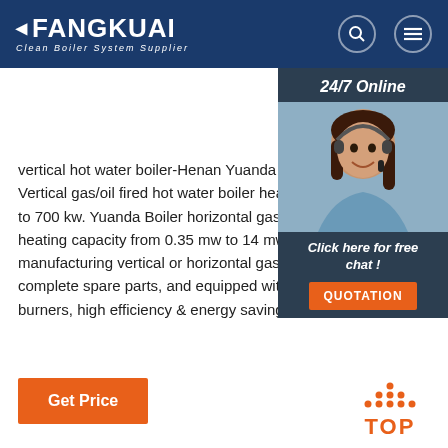FANGKUAI Clean Boiler System Supplier
vertical hot water boiler-Henan Yuanda Boiler C... Vertical gas/oil fired hot water boiler heating ca... to 700 kw. Yuanda Boiler horizontal gas/oil hot w... heating capacity from 0.35 mw to 14 mw Yuanda... manufacturing vertical or horizontal gas(oil) fire... complete spare parts, and equipped with world... burners, high efficiency & energy saving.
[Figure (photo): 24/7 Online chat sidebar with customer service representative photo, 'Click here for free chat!' text and QUOTATION button]
Get Price
[Figure (other): TOP navigation button with orange dots arranged in triangle and bold orange TOP text]